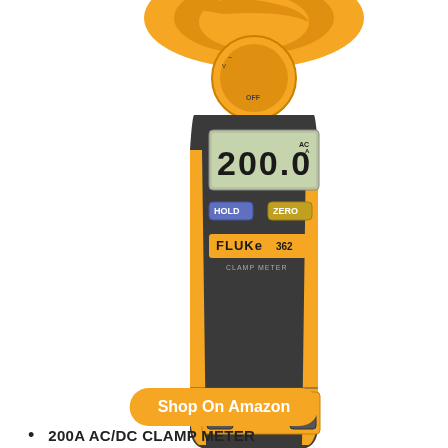[Figure (photo): Fluke 362 clamp meter in yellow/orange and dark gray, displaying 200.0 on LCD screen, with HOLD and ZERO buttons, showing CAT III 500V rating, COM and VΩ input jacks at bottom]
Shop On Amazon
200A AC/DC CLAMP METER
CLAMP METER
FLUKE